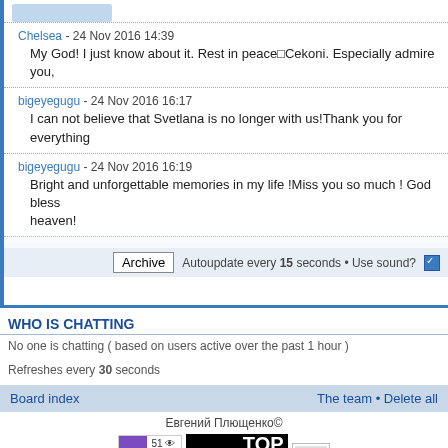Chelsea - 24 Nov 2016 14:39
My God! I just know about it. Rest in peace□Cekoni. Especially admire you,
bigeyegugu - 24 Nov 2016 16:17
I can not believe that Svetlana is no longer with us!Thank you for everything
bigeyegugu - 24 Nov 2016 16:19
Bright and unforgettable memories in my life !Miss you so much ! God bless heaven!
Archive
Autoupdate every 15 seconds • Use sound?
WHO IS CHATTING
No one is chatting ( based on users active over the past 1 hour )
Refreshes every 30 seconds
Board index    The team • Delete all
Евгений Плющенко©
[Figure (other): Stat badge with purple bar chart icon and numbers 51, 23, 22. Rambler TOP 100 badge. Rating icon.]